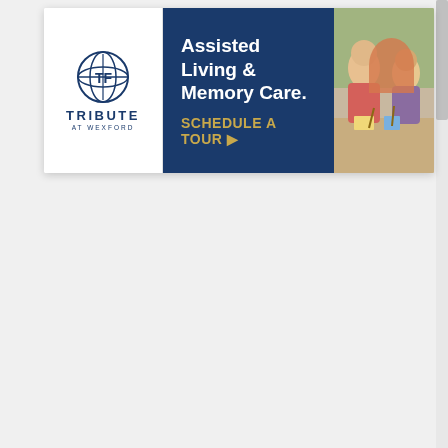[Figure (infographic): Advertisement banner for 'Tribute at Wexford' assisted living facility. Left section shows company logo with circular emblem and 'TRIBUTE AT WEXFORD' text on white background. Middle section on dark navy blue background displays 'Assisted Living & Memory Care.' in white bold text and 'SCHEDULE A TOUR ▶' in gold/yellow text. Right section shows photo of elderly people engaged in an activity (painting/crafts).]